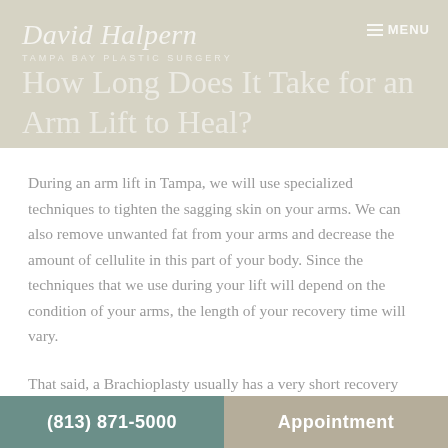David Halpern | Tampa Bay Plastic Surgery | MENU
How Long Does It Take for an Arm Lift to Heal?
During an arm lift in Tampa, we will use specialized techniques to tighten the sagging skin on your arms. We can also remove unwanted fat from your arms and decrease the amount of cellulite in this part of your body. Since the techniques that we use during your lift will depend on the condition of your arms, the length of your recovery time will vary.
That said, a Brachioplasty usually has a very short recovery period. When you schedule your procedure, we
(813) 871-5000 | Appointment